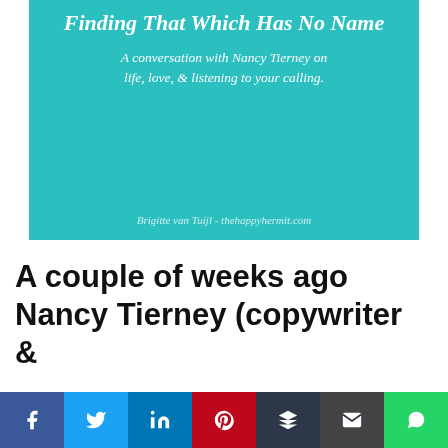[Figure (illustration): Teal/turquoise background image with italic white text. Title (partially cut off at top): 'Finding That Which Has No Name'. Subtitle: 'A conversation with Nancy Tierney on life, love, & listening to your calling.' Credit: 'Brigitte van Tuijl - thehappyhermit.com']
A couple of weeks ago Nancy Tierney (copywriter & ...
[Figure (infographic): Social sharing bar at bottom with icons for Facebook, Twitter, LinkedIn, Pinterest, Buffer, Email, and WhatsApp]